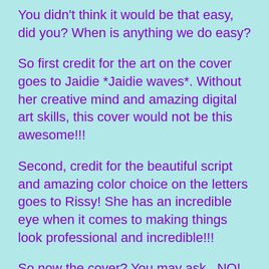You didn't think it would be that easy, did you? When is anything we do easy?
So first credit for the art on the cover goes to Jaidie *Jaidie waves*. Without her creative mind and amazing digital art skills, this cover would not be this awesome!!!
Second, credit for the beautiful script and amazing color choice on the letters goes to Rissy! She has an incredible eye when it comes to making things look professional and incredible!!!
So now the cover? You may ask...NO! Not yet....just give us a second...
.